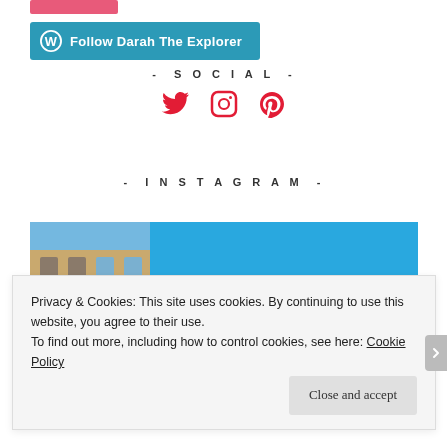[Figure (other): Partial pink button at top of page (cropped)]
[Figure (other): Follow Darah The Explorer button with WordPress logo, teal/cyan background]
- SOCIAL -
[Figure (other): Social media icons: Twitter bird, Instagram camera, Pinterest P — all in red/crimson color]
- INSTAGRAM -
[Figure (photo): Instagram photo strip: left side shows a European/Haussmann-style building facade with ornate balconies (beige/cream color), right side is bright blue sky]
Privacy & Cookies: This site uses cookies. By continuing to use this website, you agree to their use.
To find out more, including how to control cookies, see here: Cookie Policy
Close and accept